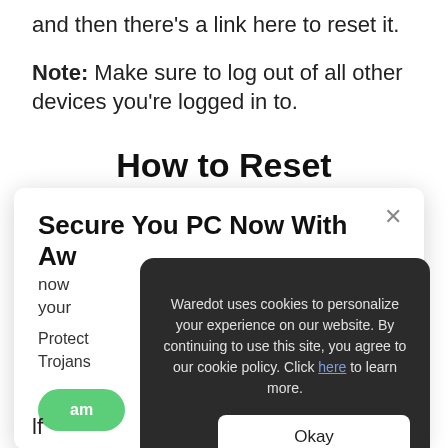and then there's a link here to reset it.
Note: Make sure to log out of all other devices you're logged in to.
How to Reset Instagram
[Figure (screenshot): A website popup showing a cookie consent dialog overlay on a card advertising 'Secure You PC Now With Aw...' product. The cookie popup reads: 'Waredot uses cookies to personalize your experience on our website. By continuing to use this site, you agree to our cookie policy. Click here to learn more.' with an Okay button.]
lf